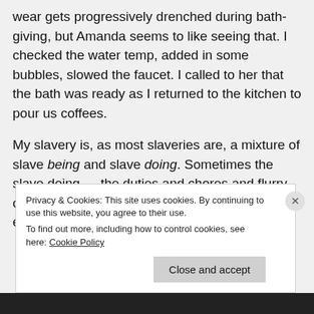wear gets progressively drenched during bath-giving, but Amanda seems to like seeing that. I checked the water temp, added in some bubbles, slowed the faucet. I called to her that the bath was ready as I returned to the kitchen to pour us coffees.
My slavery is, as most slaveries are, a mixture of slave being and slave doing. Sometimes the slave doing — the duties and chores and flurry of services — is actually relaxing. Maybe especially
Privacy & Cookies: This site uses cookies. By continuing to use this website, you agree to their use.
To find out more, including how to control cookies, see here: Cookie Policy